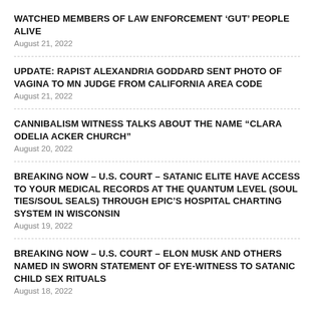WATCHED MEMBERS OF LAW ENFORCEMENT ‘GUT’ PEOPLE ALIVE
August 21, 2022
UPDATE: RAPIST ALEXANDRIA GODDARD SENT PHOTO OF VAGINA TO MN JUDGE FROM CALIFORNIA AREA CODE
August 21, 2022
CANNIBALISM WITNESS TALKS ABOUT THE NAME “CLARA ODELIA ACKER CHURCH”
August 20, 2022
BREAKING NOW – U.S. COURT – SATANIC ELITE HAVE ACCESS TO YOUR MEDICAL RECORDS AT THE QUANTUM LEVEL (SOUL TIES/SOUL SEALS) THROUGH EPIC’S HOSPITAL CHARTING SYSTEM IN WISCONSIN
August 19, 2022
BREAKING NOW – U.S. COURT – ELON MUSK AND OTHERS NAMED IN SWORN STATEMENT OF EYE-WITNESS TO SATANIC CHILD SEX RITUALS
August 18, 2022